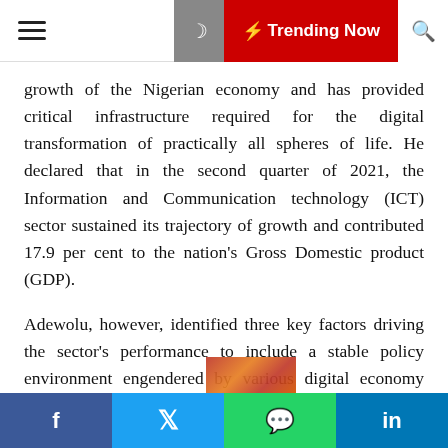Trending Now
growth of the Nigerian economy and has provided critical infrastructure required for the digital transformation of practically all spheres of life. He declared that in the second quarter of 2021, the Information and Communication technology (ICT) sector sustained its trajectory of growth and contributed 17.9 per cent to the nation's Gross Domestic product (GDP).
Adewolu, however, identified three key factors driving the sector's performance to include a stable policy environment engendered by various digital economy policies; a consistent tradition of firm, fair, forthright, transparent and developmental regulatory oversight provided by the NCC; as well as long-term infrastructure investment and service commitments of telecoms licensees.
"The NCC has therefore encouraged this framework and h
f  |  Twitter  |  WhatsApp  |  in